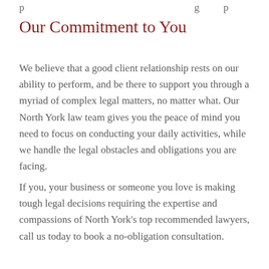p                                                                                g   p
Our Commitment to You
We believe that a good client relationship rests on our ability to perform, and be there to support you through a myriad of complex legal matters, no matter what. Our North York law team gives you the peace of mind you need to focus on conducting your daily activities, while we handle the legal obstacles and obligations you are facing.
If you, your business or someone you love is making tough legal decisions requiring the expertise and compassions of North York's top recommended lawyers, call us today to book a no-obligation consultation.